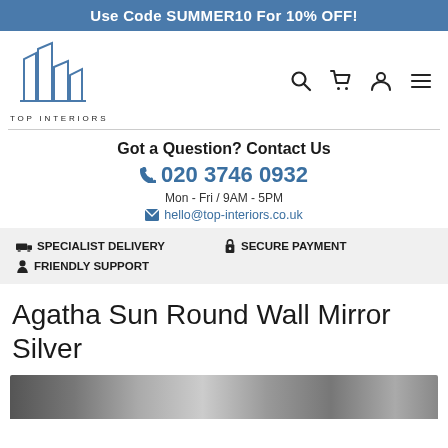Use Code SUMMER10 For 10% OFF!
[Figure (logo): Top Interiors logo with blue building/skyscraper outline and text TOP INTERIORS below]
Got a Question? Contact Us
020 3746 0932
Mon - Fri / 9AM - 5PM
hello@top-interiors.co.uk
SPECIALIST DELIVERY   SECURE PAYMENT   FRIENDLY SUPPORT
Agatha Sun Round Wall Mirror Silver